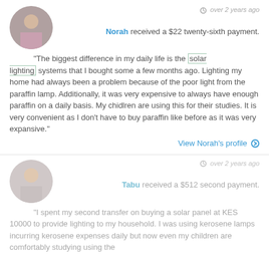over 2 years ago
Norah received a $22 twenty-sixth payment.
"The biggest difference in my daily life is the solar lighting systems that I bought some a few months ago. Lighting my home had always been a problem because of the poor light from the paraffin lamp. Additionally, it was very expensive to always have enough paraffin on a daily basis. My chidlren are using this for their studies. It is very convenient as I don't have to buy paraffin like before as it was very expansive."
View Norah's profile
over 2 years ago
Tabu received a $512 second payment.
"I spent my second transfer on buying a solar panel at KES 10000 to provide lighting to my household. I was using kerosene lamps incurring kerosene expenses daily but now even my children are comfortably studying using the